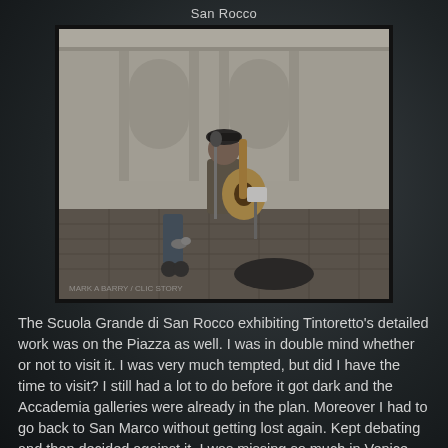San Rocco
[Figure (photo): A street musician playing acoustic guitar outdoors in a piazza in Venice, near the Scuola Grande di San Rocco. The musician stands with a microphone, guitar case on the ground, luggage trolley nearby. The building facade is white classical architecture.]
The Scuola Grande di San Rocco exhibiting Tintoretto's detailed work was on the Piazza as well. I was in double mind whether or not to visit it. I was very much tempted, but did I have the time to visit? I still had a lot to do before it got dark and the Accademia galleries were already in the plan. Moreover I had to go back to San Marco without getting lost again. Kept debating and then decided against it. I was missing so much in Venice, another one added to the list. I definitely needed another trip, if not more. I was already skipping lunch to accommodate my plan. Grabbed a frittata from a roadside cafe and finally gave in to a cappuccino.